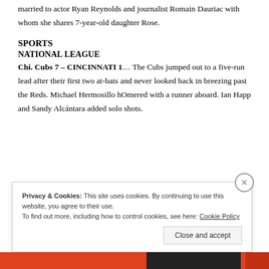married to actor Ryan Reynolds and journalist Romain Dauriac with whom she shares 7-year-old daughter Rose.
SPORTS
NATIONAL LEAGUE
Chi. Cubs 7 – CINCINNATI 1… The Cubs jumped out to a five-run lead after their first two at-bats and never looked back in breezing past the Reds. Michael Hermosillo hOmered with a runner aboard. Ian Happ and Sandy Alcántara added solo shots.
Privacy & Cookies: This site uses cookies. By continuing to use this website, you agree to their use.
To find out more, including how to control cookies, see here: Cookie Policy
Close and accept